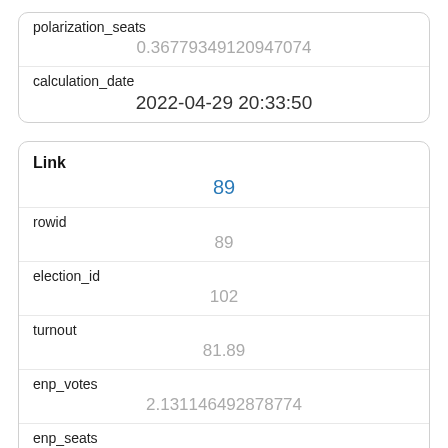| Field | Value |
| --- | --- |
| polarization_seats | 0.36779349120947074 |
| calculation_date | 2022-04-29 20:33:50 |
| Field | Value |
| --- | --- |
| Link | 89 |
| rowid | 89 |
| election_id | 102 |
| turnout | 81.89 |
| enp_votes | 2.131146492878774 |
| enp_seats | 2.1867704933634142 |
| disproportionality | 1.6222823428737685 |
| advantage_ratio | 1.6 |